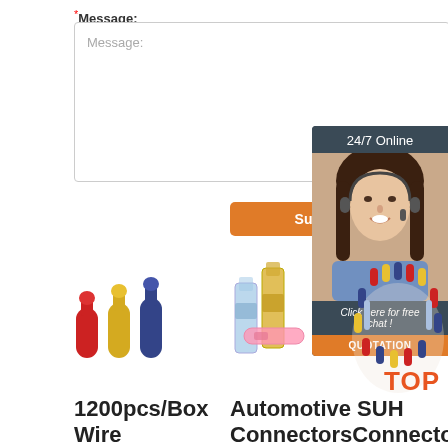* Message:
[Figure (screenshot): Message text area input box with placeholder text 'Message:']
[Figure (illustration): Orange 'Submit Now' button]
[Figure (photo): 24/7 Online chat widget with woman wearing headset, 'Click here for free chat!' text and orange QUOTATION button]
[Figure (photo): Product images: colored bullet connectors (red, yellow, blue) on left; clear and yellow cylindrical connectors center; assorted connectors radial display right with TOP badge]
1200pcs/Box Wire
Automotive SUH ConnectorsConnector